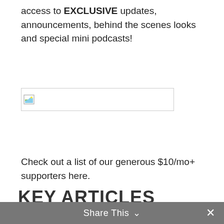access to EXCLUSIVE updates, announcements, behind the scenes looks and special mini podcasts!
[Figure (other): Broken/placeholder image with border]
Check out a list of our generous $10/mo+ supporters here.
KEY ARTICLES
Ryan Calls On Gianforte to Apologize for Assault, Says Election up to Montana Voters by Alex Seitz-Wald (NBC News)
GOP candidate Greg Gianforte has financial ties to US-sanctioned Russian companies by Ben Jacobs (The
Share This